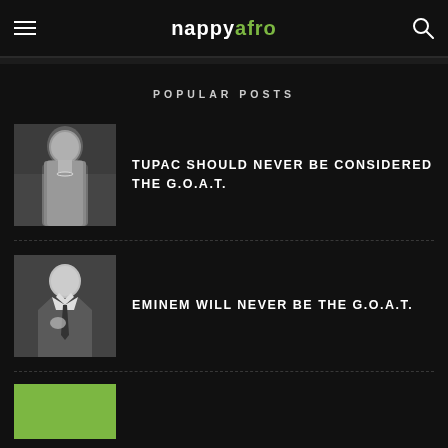nappyafro
POPULAR POSTS
[Figure (photo): Black and white photo of Tupac Shakur standing shirtless outdoors]
TUPAC SHOULD NEVER BE CONSIDERED THE G.O.A.T.
[Figure (photo): Black and white photo of Eminem in a suit and tie]
EMINEM WILL NEVER BE THE G.O.A.T.
[Figure (photo): Green rectangle thumbnail placeholder]